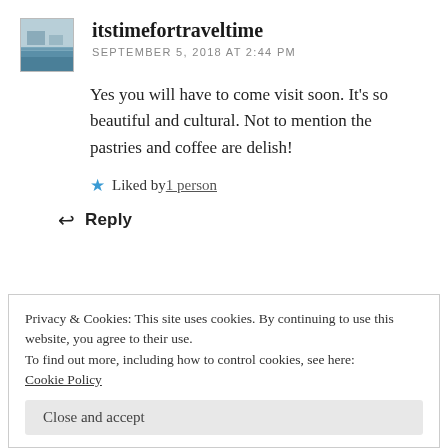[Figure (photo): Small avatar/thumbnail image of a travel scene (water/landscape)]
itstimefortraveltime
SEPTEMBER 5, 2018 AT 2:44 PM
Yes you will have to come visit soon. It’s so beautiful and cultural. Not to mention the pastries and coffee are delish!
★ Liked by 1 person
Reply
Privacy & Cookies: This site uses cookies. By continuing to use this website, you agree to their use.
To find out more, including how to control cookies, see here: Cookie Policy